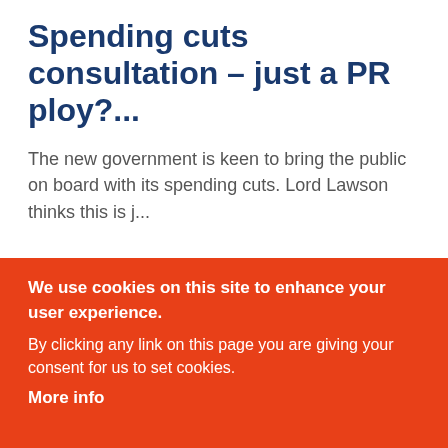Spending cuts consultation – just a PR ploy?...
The new government is keen to bring the public on board with its spending cuts. Lord Lawson thinks this is j...
OPINION
Janice Thomson
Who's afraid of the world's first
We use cookies on this site to enhance your user experience.
By clicking any link on this page you are giving your consent for us to set cookies.
More info